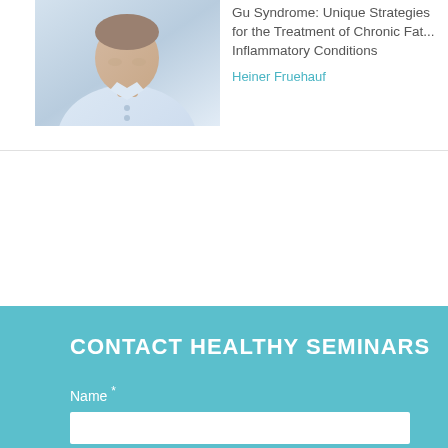[Figure (photo): Photo of a man wearing a light blue button-up shirt, cropped to show upper body and face]
Gu Syndrome: Unique Strategies for the Treatment of Chronic Fatigue and Inflammatory Conditions
Heiner Fruehauf
CONTACT HEALTHY SEMINARS
Name *